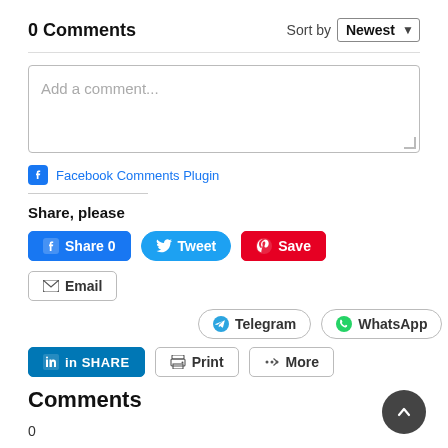0 Comments
Sort by Newest
Add a comment...
Facebook Comments Plugin
Share, please
Share 0
Tweet
Save
Email
Telegram
WhatsApp
SHARE
Print
More
Comments
0